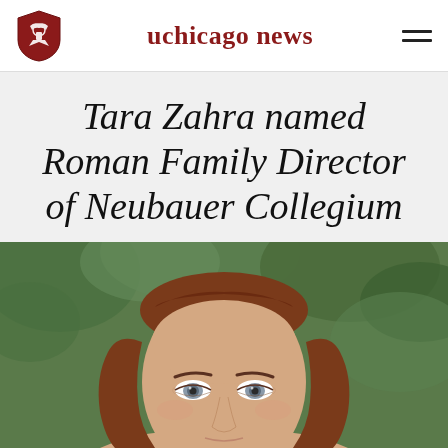uchicago news
Tara Zahra named Roman Family Director of Neubauer Collegium
[Figure (photo): Close-up headshot of Tara Zahra, a woman with shoulder-length auburn/brown hair and blue-grey eyes, against a blurred green outdoor background.]